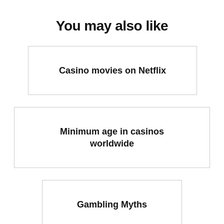You may also like
Casino movies on Netflix
Minimum age in casinos worldwide
Gambling Myths